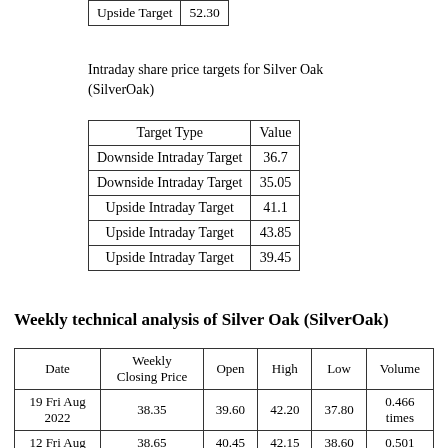| Upside Target | 52.30 |
| --- | --- |
Intraday share price targets for Silver Oak (SilverOak)
| Target Type | Value |
| --- | --- |
| Downside Intraday Target | 36.7 |
| Downside Intraday Target | 35.05 |
| Upside Intraday Target | 41.1 |
| Upside Intraday Target | 43.85 |
| Upside Intraday Target | 39.45 |
Weekly technical analysis of Silver Oak (SilverOak)
| Date | Weekly Closing Price | Open | High | Low | Volume |
| --- | --- | --- | --- | --- | --- |
| 19 Fri Aug 2022 | 38.35 | 39.60 | 42.20 | 37.80 | 0.466 times |
| 12 Fri Aug | 38.65 | 40.45 | 42.15 | 38.60 | 0.501 |